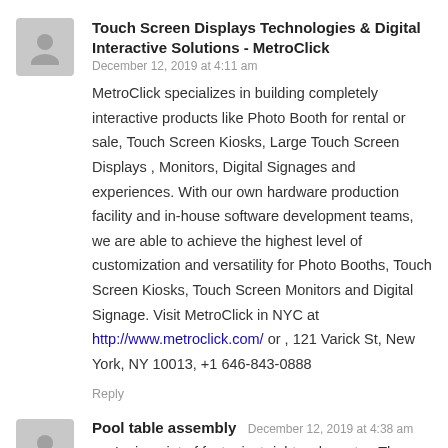[Figure (illustration): Gray placeholder avatar icon (person silhouette) for first commenter]
Touch Screen Displays Technologies & Digital Interactive Solutions - MetroClick
December 12, 2019 at 4:11 am
MetroClick specializes in building completely interactive products like Photo Booth for rental or sale, Touch Screen Kiosks, Large Touch Screen Displays , Monitors, Digital Signages and experiences. With our own hardware production facility and in-house software development teams, we are able to achieve the highest level of customization and versatility for Photo Booths, Touch Screen Kiosks, Touch Screen Monitors and Digital Signage. Visit MetroClick in NYC at http://www.metroclick.com/ or , 121 Varick St, New York, NY 10013, +1 646-843-0888
Reply
[Figure (illustration): Gray placeholder avatar icon (person silhouette) for second commenter]
Pool table assembly  December 12, 2019 at 4:38 am
you're in point of fact a just right webmaster. The website